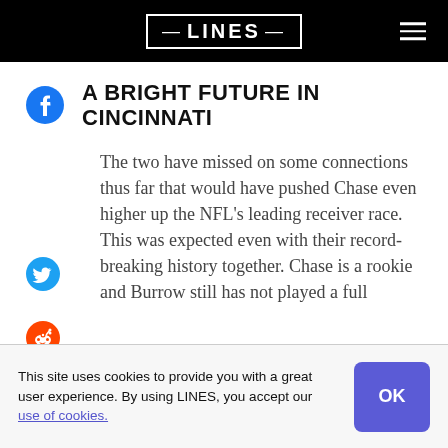LINES
A BRIGHT FUTURE IN CINCINNATI
The two have missed on some connections thus far that would have pushed Chase even higher up the NFL's leading receiver race. This was expected even with their record-breaking history together. Chase is a rookie and Burrow still has not played a full
This site uses cookies to provide you with a great user experience. By using LINES, you accept our use of cookies.